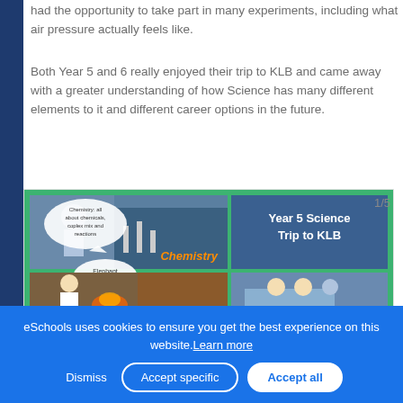had the opportunity to take part in many experiments, including what air pressure actually feels like.
Both Year 5 and 6 really enjoyed their trip to KLB and came away with a greater understanding of how Science has many different elements to it and different career options in the future.
[Figure (photo): Slide showing 'Year 5 Science Trip to KLB' with photos of chemistry and physics experiments. Speech bubbles say 'Chemistry: all about chemicals, coplex mix and reactions', 'Elephant toothpaste', 'Physics', 'Nothing to see how to interpret without it'. Slide counter shows 1/5.]
eSchools uses cookies to ensure you get the best experience on this website. Learn more
Dismiss
Accept specific
Accept all